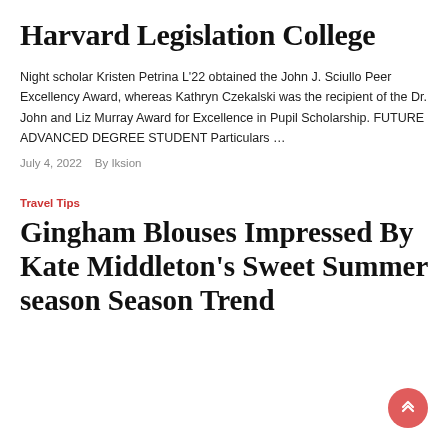Harvard Legislation College
Night scholar Kristen Petrina L’22 obtained the John J. Sciullo Peer Excellency Award, whereas Kathryn Czekalski was the recipient of the Dr. John and Liz Murray Award for Excellence in Pupil Scholarship. FUTURE ADVANCED DEGREE STUDENT Particulars …
July 4, 2022   By Iksion
Travel Tips
Gingham Blouses Impressed By Kate Middleton’s Sweet Summer season Season Trend